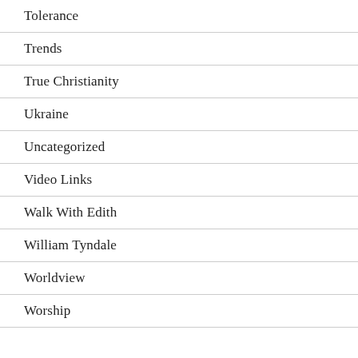Tolerance
Trends
True Christianity
Ukraine
Uncategorized
Video Links
Walk With Edith
William Tyndale
Worldview
Worship